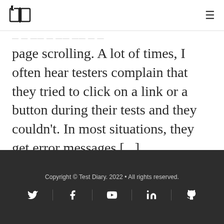[Figure (logo): Open book icon logo]
page scrolling. A lot of times, I often hear testers complain that they tried to click on a link or a button during their tests and they couldn't. In most situations, they get error messages [...]
Olufemi Ade-Olusile
Copyright © Test Diary. 2022 • All rights reserved.